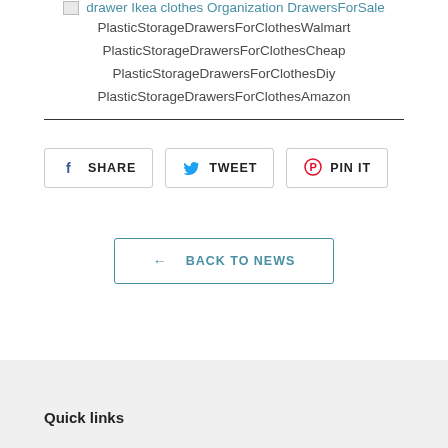[Figure (other): Broken image placeholder for drawer Ikea clothes organization DrawersForSale link]
PlasticStorageDrawersForClothesWalmart
PlasticStorageDrawersForClothesCheap
PlasticStorageDrawersForClothesDiy
PlasticStorageDrawersForClothesAmazon
[Figure (other): Social share buttons: Facebook SHARE, Twitter TWEET, Pinterest PIN IT]
← BACK TO NEWS
Quick links